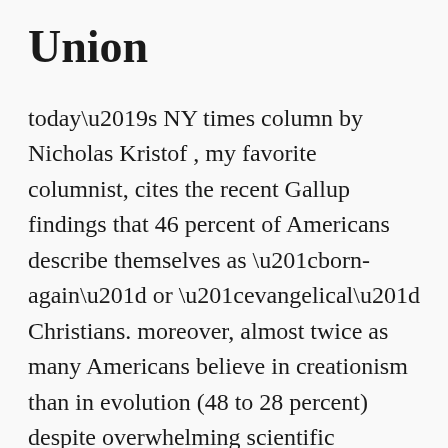Union
today’s NY times column by Nicholas Kristof , my favorite columnist, cites the recent Gallup findings that 46 percent of Americans describe themselves as “born-again” or “evangelical” Christians. moreover, almost twice as many Americans believe in creationism than in evolution (48 to 28 percent) despite overwhelming scientific evidence to the contrary. i guess what worries…more
March 4, 2003 · Philosophy